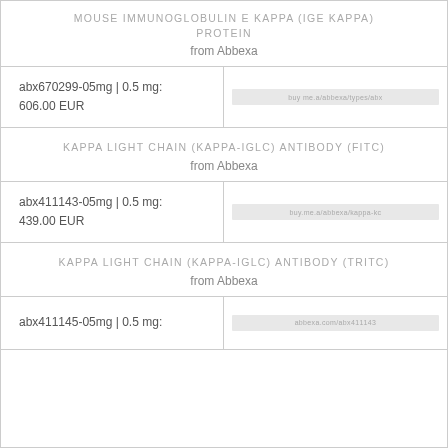MOUSE IMMUNOGLOBULIN E KAPPA (IGE KAPPA) PROTEIN
from Abbexa
| Product | Image |
| --- | --- |
| abx670299-05mg | 0.5 mg: 606.00 EUR | [image placeholder] |
KAPPA LIGHT CHAIN (KAPPA-IGLC) ANTIBODY (FITC)
from Abbexa
| Product | Image |
| --- | --- |
| abx411143-05mg | 0.5 mg: 439.00 EUR | [image placeholder] |
KAPPA LIGHT CHAIN (KAPPA-IGLC) ANTIBODY (TRITC)
from Abbexa
| Product | Image |
| --- | --- |
| abx411145-05mg | 0.5 mg: | [image placeholder] |